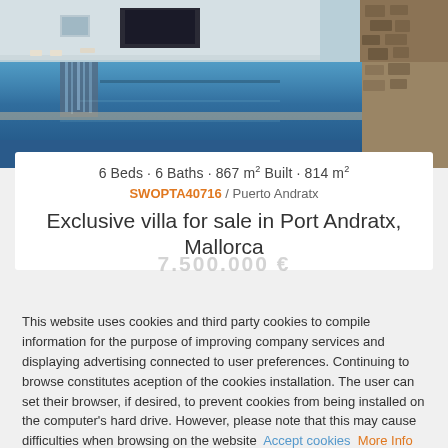[Figure (photo): Luxury villa infinity pool with waterfall feature, stone wall, and outdoor seating area visible in the background]
6 Beds · 6 Baths · 867 m² Built · 814 m²
SWOPTA40716 / Puerto Andratx
Exclusive villa for sale in Port Andratx, Mallorca
7.500.000 €
This website uses cookies and third party cookies to compile information for the purpose of improving company services and displaying advertising connected to user preferences. Continuing to browse constitutes aception of the cookies installation. The user can set their browser, if desired, to prevent cookies from being installed on the computer's hard drive. However, please note that this may cause difficulties when browsing on the website  Accept cookies  More Info